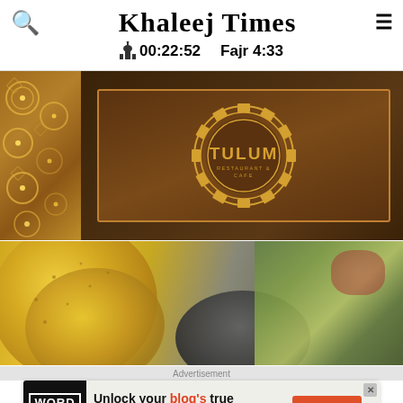Khaleej Times — 00:22:52   Fajr 4:33
[Figure (photo): Tulum Restaurant & Cafe sign on a wooden board with decorative gold lattice on the left side]
[Figure (photo): Close-up of tortilla chips with a molcajete bowl and a salad in the background]
Advertisement
[Figure (infographic): WordMonize advertisement banner: 'Unlock your blog's true revenue potential' with GET STARTED button]